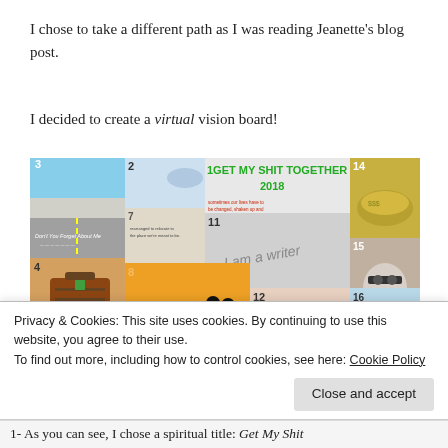I chose to take a different path as I was reading Jeanette's blog post.
I decided to create a virtual vision board!
[Figure (photo): A collage vision board titled 'GET MY SHIT TOGETHER 2018' with numbered images (1-16+) showing various scenes: road, travel suitcase, couple silhouette, pills, money, a person with glasses, motivational quotes, and more.]
Privacy & Cookies: This site uses cookies. By continuing to use this website, you agree to their use.
To find out more, including how to control cookies, see here: Cookie Policy
1- As you can see, I chose a spiritual title: Get My Shit